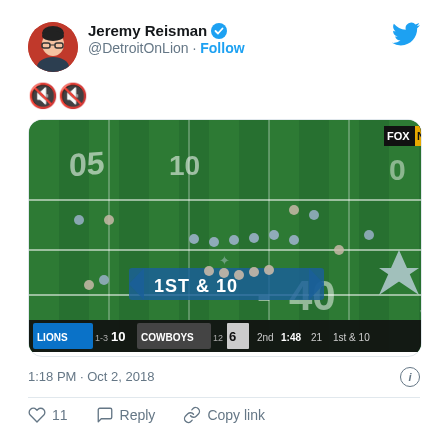Jeremy Reisman @DetroitOnLion · Follow
🔇🔇
[Figure (screenshot): NFL football game broadcast screenshot from FOX NFL showing a Dallas Cowboys play. Scoreboard shows LIONS 10, COWBOYS 6, 2nd quarter 1:48, 21, 1st & 10. Field shows yard markers and the Cowboys star logo.]
1:18 PM · Oct 2, 2018
11  Reply  Copy link